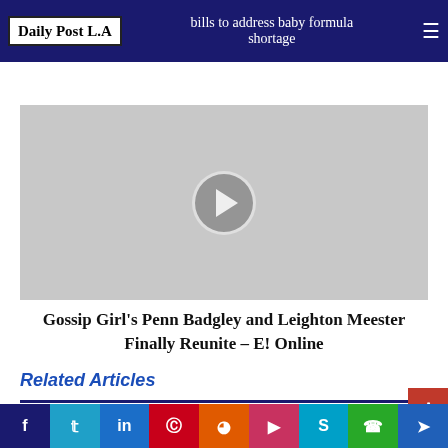Daily Post L.A — bills to address baby formula shortage
[Figure (screenshot): Video player placeholder with grey background and circular play button]
Gossip Girl's Penn Badgley and Leighton Meester Finally Reunite – E! Online
Related Articles
[Figure (infographic): Social share bar with icons: Facebook, Twitter, LinkedIn, Pinterest, Reddit, Pocket, Skype, WhatsApp, Telegram]